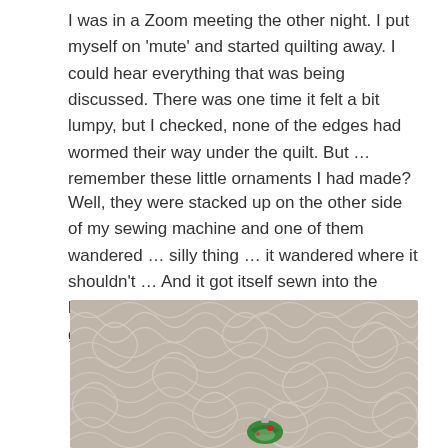I was in a Zoom meeting the other night. I put myself on 'mute' and started quilting away. I could hear everything that was being discussed. There was one time it felt a bit lumpy, but I checked, none of the edges had wormed their way under the quilt. But … remember these little ornaments I had made?
Well, they were stacked up on the other side of my sewing machine and one of them wandered … silly thing … it wandered where it shouldn't … And it got itself sewn into the back of the quilt … It's quilted on there pretty good!
[Figure (photo): A close-up photo of the back of a quilt with a tan/beige swirling pattern. A small colorful ornament (green and red) is visible, having been accidentally sewn into the quilt backing.]